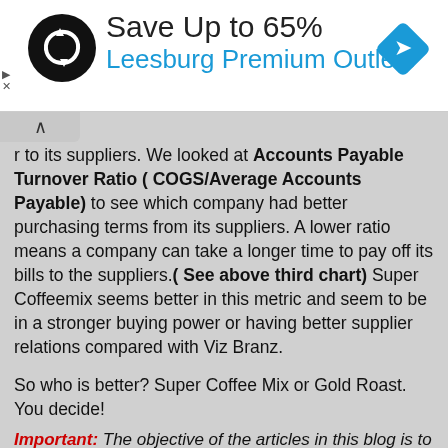[Figure (other): Advertisement banner: Save Up to 65% Leesburg Premium Outlets, with a black circle logo with arrows and a blue diamond navigation icon]
r to its suppliers. We looked at Accounts Payable Turnover Ratio ( COGS/Average Accounts Payable) to see which company had better purchasing terms from its suppliers. A lower ratio means a company can take a longer time to pay off its bills to the suppliers.( See above third chart) Super Coffeemix seems better in this metric and seem to be in a stronger buying power or having better supplier relations compared with Viz Branz.
So who is better? Super Coffee Mix or Gold Roast. You decide!
Important: The objective of the articles in this blog is to set you thinking about the company before you invest your hard-earned money. Do not invest solely based on this article. Unlike House or Instituitional Analysts who have to maintain relations with corporations due to investment banking relations, generating commissions,e.t.c, SGDividends say